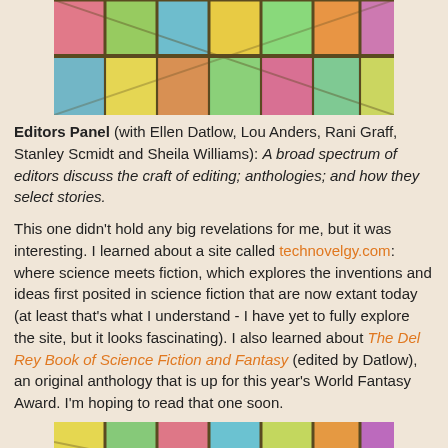[Figure (photo): Colorful stained glass ceiling with rectangular panels in pink, yellow, green, blue, and other colors viewed from below, top portion cut off at top of page.]
Editors Panel (with Ellen Datlow, Lou Anders, Rani Graff, Stanley Scmidt and Sheila Williams): A broad spectrum of editors discuss the craft of editing; anthologies; and how they select stories.
This one didn't hold any big revelations for me, but it was interesting. I learned about a site called technovelgy.com: where science meets fiction, which explores the inventions and ideas first posited in science fiction that are now extant today (at least that's what I understand - I have yet to fully explore the site, but it looks fascinating). I also learned about The Del Rey Book of Science Fiction and Fantasy (edited by Datlow), an original anthology that is up for this year's World Fantasy Award. I'm hoping to read that one soon.
[Figure (photo): Colorful stained glass ceiling with rectangular panels in pink, yellow, green, blue, and other colors viewed from below, bottom portion shown.]